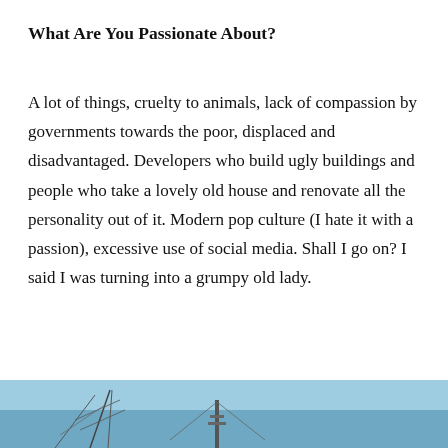What Are You Passionate About?
A lot of things, cruelty to animals, lack of compassion by governments towards the poor, displaced and disadvantaged. Developers who build ugly buildings and people who take a lovely old house and renovate all the personality out of it. Modern pop culture (I hate it with a passion), excessive use of social media. Shall I go on? I said I was turning into a grumpy old lady.
[Figure (photo): A partial outdoor photograph showing a blue sky with what appears to be a tower or mast structure visible at the bottom edge of the image.]